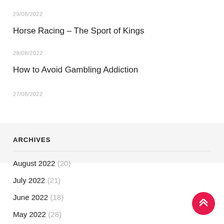29/08/2022
Horse Racing – The Sport of Kings
28/08/2022
How to Avoid Gambling Addiction
27/08/2022
ARCHIVES
August 2022 (20)
July 2022 (21)
June 2022 (18)
May 2022 (28)